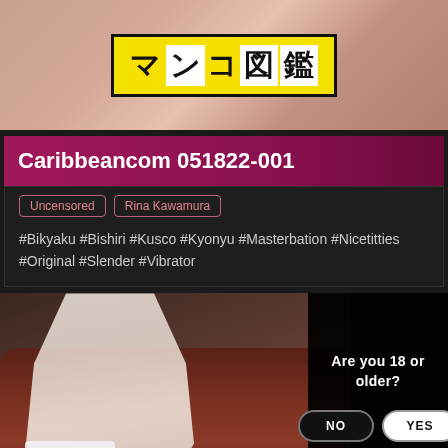[Figure (photo): Top banner photo showing a website logo 'マンコ図鑑' on a yellow background with black border, overlaid on a skin-toned background photo]
Caribbeancom 051822-001
Uncensored
Rina Kawamura
#Bikyaku #Bishiri #Kusco #Kyonyu #Masterbation #Nicetitties #Original #Slender #Vibrator
[Figure (screenshot): Bottom section showing a photo of a woman's legs with white heels on a dark red leather chair, with a black modal dialog overlay asking 'Are you 18 or older?' with NO and YES buttons]
Are you 18 or older?
NO
YES